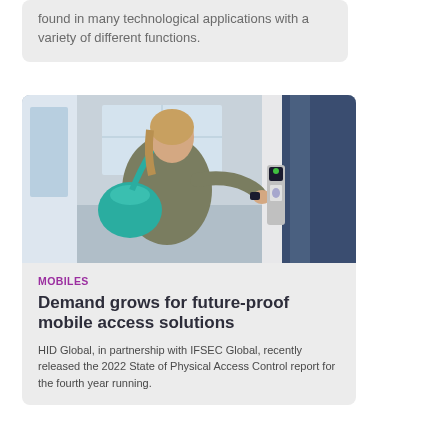found in many technological applications with a variety of different functions.
[Figure (photo): A woman carrying a teal bag using her wrist/phone to tap a card reader access control device mounted on a door or wall panel.]
MOBILES
Demand grows for future-proof mobile access solutions
HID Global, in partnership with IFSEC Global, recently released the 2022 State of Physical Access Control report for the fourth year running.